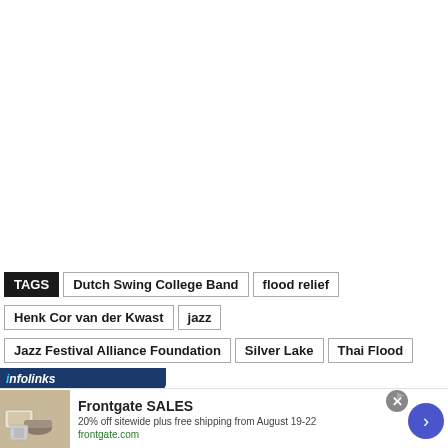TAGS  Dutch Swing College Band  flood relief  Henk Cor van der Kwast  jazz  Jazz Festival Alliance Foundation  Silver Lake  Thai Flood  Wichit Chatpaisit
[Figure (screenshot): Infolinks advertisement banner with Frontgate SALES ad showing outdoor furniture, 20% off sitewide plus free shipping from August 19-22, frontgate.com]